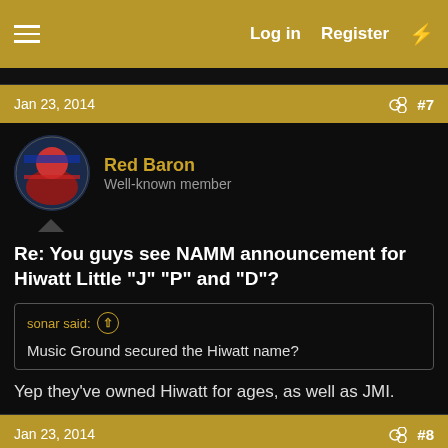Log in   Register
Jan 23, 2014   #7
Red Baron
Well-known member
Re: You guys see NAMM announcement for Hiwatt Little "J" "P" and "D"?
sonar said: ↑
Music Ground secured the Hiwatt name?
Yep they've owned Hiwatt for ages, as well as JMI.
Jan 23, 2014   #8